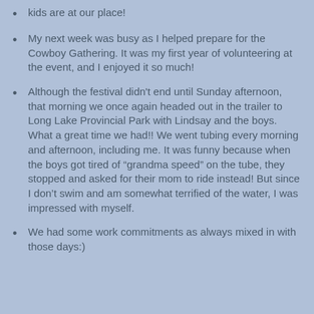kids are at our place!
My next week was busy as I helped prepare for the Cowboy Gathering. It was my first year of volunteering at the event, and I enjoyed it so much!
Although the festival didn't end until Sunday afternoon, that morning we once again headed out in the trailer to Long Lake Provincial Park with Lindsay and the boys. What a great time we had!! We went tubing every morning and afternoon, including me. It was funny because when the boys got tired of “grandma speed” on the tube, they stopped and asked for their mom to ride instead! But since I don’t swim and am somewhat terrified of the water, I was impressed with myself.
We had some work commitments as always mixed in with those days:)